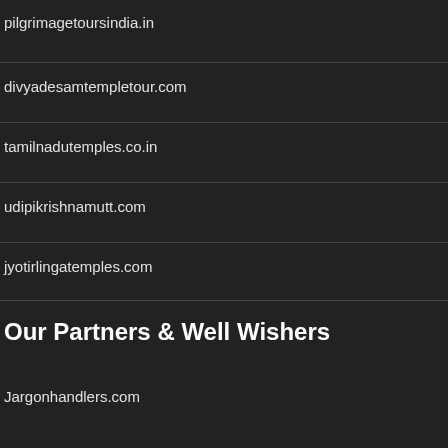pilgrimagetoursindia.in
divyadesamtempletour.com
tamilnadutemples.co.in
udipikrishnamutt.com
jyotirlingatemples.com
Our Partners & Well Wishers
Jargonhandlers.com